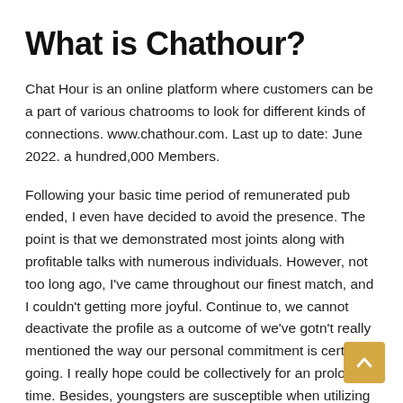What is Chathour?
Chat Hour is an online platform where customers can be a part of various chatrooms to look for different kinds of connections. www.chathour.com. Last up to date: June 2022. a hundred,000 Members.
Following your basic time period of remunerated pub ended, I even have decided to avoid the presence. The point is that we demonstrated most joints along with profitable talks with numerous individuals. However, not too long ago, I've came throughout our finest match, and I couldn't getting more joyful. Continue to, we cannot deactivate the profile as a outcome of we've gotn't really mentioned the way our personal commitment is certainly going. I really hope could be collectively for an prolonged time. Besides, youngsters are susceptible when utilizing the social network.
Safety & Safe...